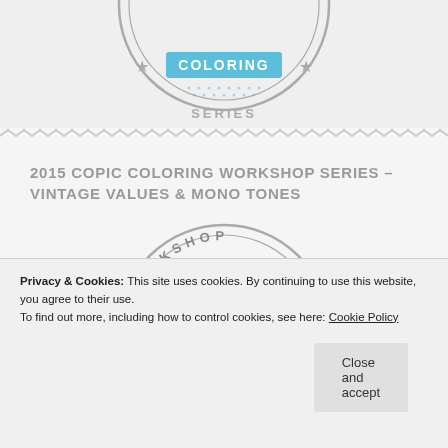[Figure (logo): Copic Coloring Series circular badge/stamp logo with stars, light blue 'COLORING' text and 'SERIES' text at bottom, partially visible at top of page]
2015 COPIC COLORING WORKSHOP SERIES – VINTAGE VALUES & MONO TONES
[Figure (logo): Copic Workshop circular badge logo with 'WORKSHOP' at top arc, blue dotted grid pattern in center, and 'COPIC' in large gray letters]
Privacy & Cookies: This site uses cookies. By continuing to use this website, you agree to their use.
To find out more, including how to control cookies, see here: Cookie Policy
Close and accept